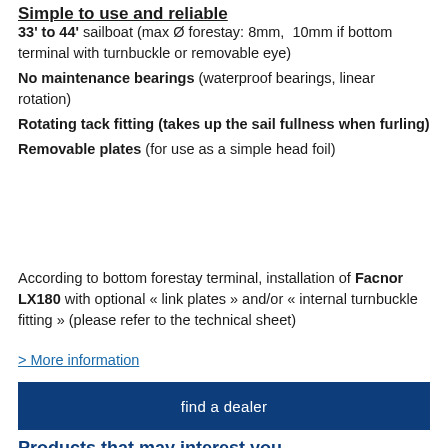Simple to use and reliable
33' to 44' sailboat (max Ø forestay: 8mm, 10mm if bottom terminal with turnbuckle or removable eye)
No maintenance bearings (waterproof bearings, linear rotation)
Rotating tack fitting (takes up the sail fullness when furling)
Removable plates (for use as a simple head foil)
According to bottom forestay terminal, installation of Facnor LX180 with optional « link plates » and/or « internal turnbuckle fitting » (please refer to the technical sheet)
> More information
find a dealer
Products that may interest you